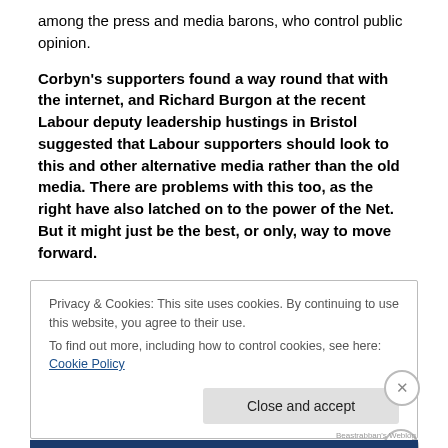among the press and media barons, who control public opinion.
Corbyn's supporters found a way round that with the internet, and Richard Burgon at the recent Labour deputy leadership hustings in Bristol suggested that Labour supporters should look to this and other alternative media rather than the old media. There are problems with this too, as the right have also latched on to the power of the Net. But it might just be the best, or only, way to move forward.
Privacy & Cookies: This site uses cookies. By continuing to use this website, you agree to their use.
To find out more, including how to control cookies, see here: Cookie Policy
Close and accept